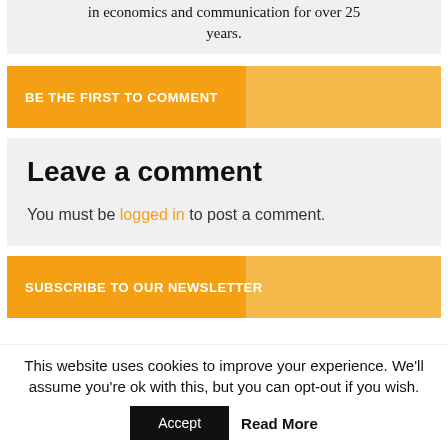in economics and communication for over 25 years.
BE THE FIRST TO COMMENT
Leave a comment
You must be logged in to post a comment.
SUBSCRIBE TO OUR NEWSLETTER
This website uses cookies to improve your experience. We'll assume you're ok with this, but you can opt-out if you wish.